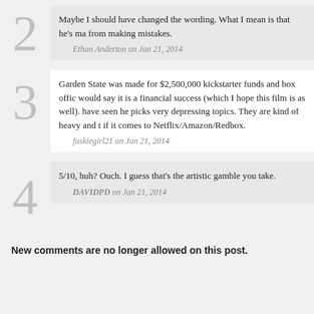2 Maybe I should have changed the wording. What I mean is that he's ma from making mistakes. Ethan Anderton on Jan 21, 2014
3 Garden State was made for $2,500,000 kickstarter funds and box offic would say it is a financial success (which I hope this film is as well). have seen he picks very depressing topics. They are kind of heavy and t if it comes to Netflix/Amazon/Redbox. fuskiegirl21 on Jan 21, 2014
4 5/10, huh? Ouch. I guess that's the artistic gamble you take. DAVIDPD on Jan 21, 2014
New comments are no longer allowed on this post.